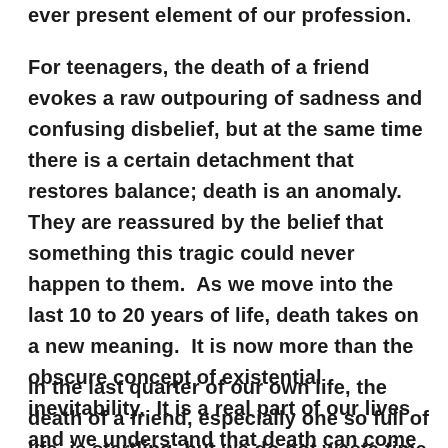ever present element of our profession.
For teenagers, the death of a friend evokes a raw outpouring of sadness and confusing disbelief, but at the same time there is a certain detachment that restores balance; death is an anomaly.  They are reassured by the belief that something this tragic could never happen to them.  As we move into the last 10 to 20 years of life, death takes on a new meaning.  It is now more than the obscure concept of existential inevitability.  It is a real part of our lives and we understand that death can come at any time.
In the last quarter of our own life, the death of a friend, especially one so full of life, is startling, but we do not waste time asking how something